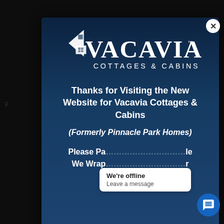[Figure (screenshot): Website popup modal for Vacavia Cottages & Cabins (formerly Pinnacle Park Homes) with logo, welcome message, and a chat widget showing 'We're offline / Leave a message']
Thanks for Visiting the New Website for Vacavia Cottages & Cabins
(Formerly Pinnacle Park Homes)
Please Pa... We Wrap... Our N...
We're offline
Leave a message